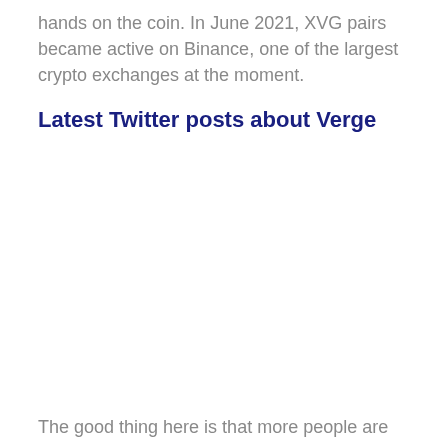hands on the coin. In June 2021, XVG pairs became active on Binance, one of the largest crypto exchanges at the moment.
Latest Twitter posts about Verge
The good thing here is that more people are